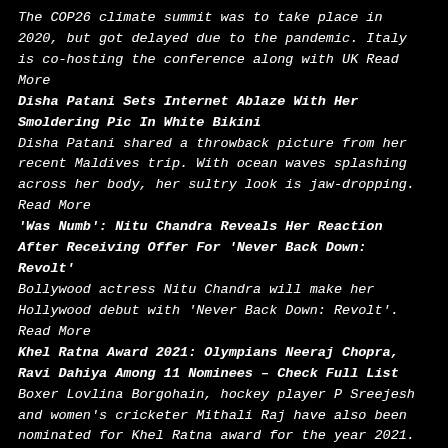The COP26 climate summit was to take place in 2020, but got delayed due to the pandemic. Italy is co-hosting the conference along with UK Read More
Disha Patani Sets Internet Ablaze With Her Smoldering Pic In White Bikini
Disha Patani shared a throwback picture from her recent Maldives trip. With ocean waves splashing across her body, her sultry look is jaw-dropping. Read More
'Was Numb': Nitu Chandra Reveals Her Reaction After Receiving Offer For 'Never Back Down: Revolt'
Bollywood actress Nitu Chandra will make her Hollywood debut with 'Never Back Down: Revolt'. Read More
Khel Ratna Award 2021: Olympians Neeraj Chopra, Ravi Dahiya Among 11 Nominees – Check Full List
Boxer Lovlina Borgohain, hockey player P Sreejesh and women's cricketer Mithali Raj have also been nominated for Khel Ratna award for the year 2021. Read More
Top Five Indian Players To Watch Out For In India Vs New